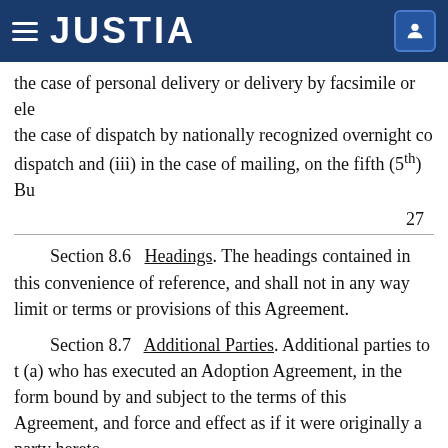JUSTIA
the case of personal delivery or delivery by facsimile or ele the case of dispatch by nationally recognized overnight co dispatch and (iii) in the case of mailing, on the fifth (5th) Bu
27
Section 8.6 Headings. The headings contained in this convenience of reference, and shall not in any way limit or terms or provisions of this Agreement.
Section 8.7 Additional Parties. Additional parties to t (a) who has executed an Adoption Agreement, in the form bound by and subject to the terms of this Agreement, and force and effect as if it were originally a party hereto.
Section 8.8 Adjustments. If, and as often as, there are convertible into or exchangeable into or exercisable for Sh